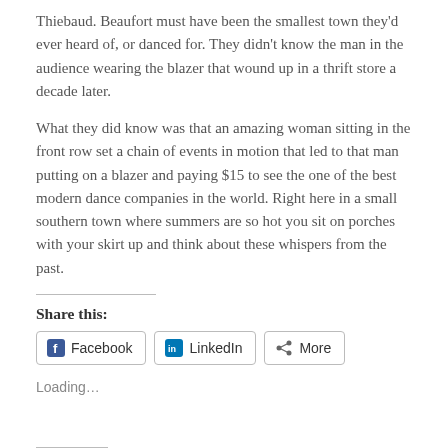Thiebaud. Beaufort must have been the smallest town they'd ever heard of, or danced for. They didn't know the man in the audience wearing the blazer that wound up in a thrift store a decade later.
What they did know was that an amazing woman sitting in the front row set a chain of events in motion that led to that man putting on a blazer and paying $15 to see the one of the best modern dance companies in the world. Right here in a small southern town where summers are so hot you sit on porches with your skirt up and think about these whispers from the past.
Share this:
[Figure (infographic): Share buttons row: Facebook, LinkedIn, More]
Loading...